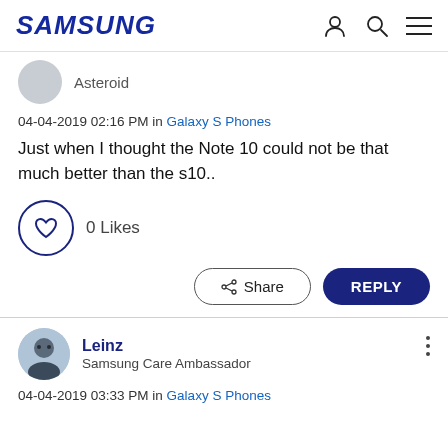SAMSUNG
Asteroid
04-04-2019 02:16 PM in Galaxy S Phones
Just when I thought the Note 10 could not be that much better than the s10..
0 Likes
Share
REPLY
Leinz
Samsung Care Ambassador
04-04-2019 03:33 PM in Galaxy S Phones